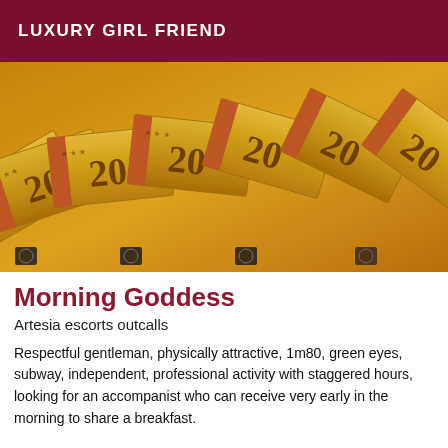LUXURY GIRL FRIEND
[Figure (photo): Overhead photo of multiple overlapping 20 euro banknotes arranged in a fan pattern, showing golden-yellow color with dark brown numerals and European stars]
Morning Goddess
Artesia escorts outcalls
Respectful gentleman, physically attractive, 1m80, green eyes, subway, independent, professional activity with staggered hours, looking for an accompanist who can receive very early in the morning to share a breakfast.